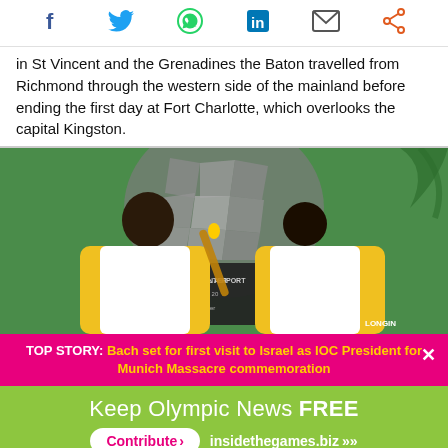[Figure (other): Social media sharing icons: Facebook, Twitter, WhatsApp, LinkedIn, Email, Share]
in St Vincent and the Grenadines the Baton travelled from Richmond through the western side of the mainland before ending the first day at Fort Charlotte, which overlooks the capital Kingston.
[Figure (photo): Two people in yellow and white polo shirts holding an Olympic torch baton in front of a commemorative plaque at Argyle International Airport]
TOP STORY: Bach set for first visit to Israel as IOC President for Munich Massacre commemoration
Keep Olympic News FREE Contribute > insidethegames.biz >>>